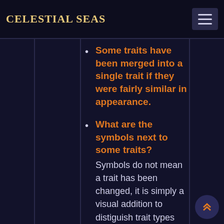CELESTIAL SEAS
Some traits have been merged into a single trait if they were fairly similar in appearance.
What are the symbols next to some traits? Symbols do not mean a trait has been changed, it is simply a visual addition to distiguish trait types easier due to how crowded trait listings can be. No emoji = Regular trait. These are basic things like tails, horns, crests, ect.